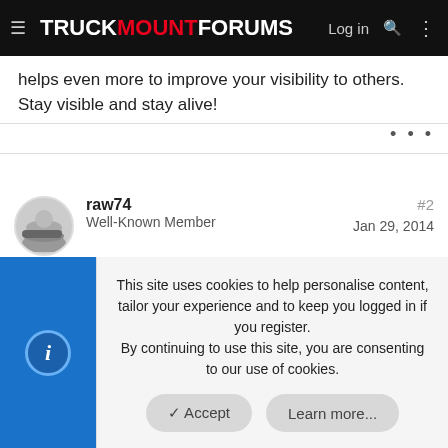TRUCKMOUNTFORUMS — Log in
helps even more to improve your visibility to others. Stay visible and stay alive!
raw74
Well-Known Member
#2
Jan 29, 2014
Slamming on brakes is a no no no.
This site uses cookies to help personalise content, tailor your experience and to keep you logged in if you register. By continuing to use this site, you are consenting to our use of cookies.